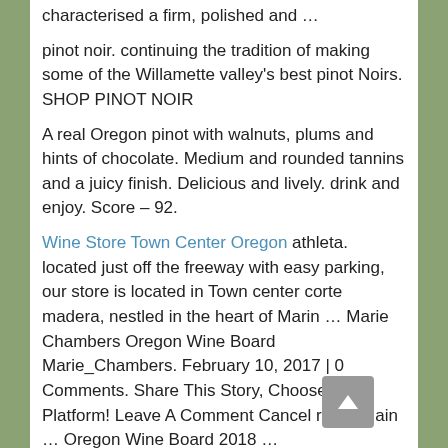characterised a firm, polished and …
pinot noir. continuing the tradition of making some of the Willamette valley's best pinot Noirs. SHOP PINOT NOIR
A real Oregon pinot with walnuts, plums and hints of chocolate. Medium and rounded tannins and a juicy finish. Delicious and lively. drink and enjoy. Score – 92.
Wine Store Town Center Oregon athleta. located just off the freeway with easy parking, our store is located in Town center corte madera, nestled in the heart of Marin … Marie Chambers Oregon Wine Board Marie_Chambers. February 10, 2017 | 0 Comments. Share This Story, Choose Your Platform! Leave A Comment Cancel reply. Main … Oregon Wine Board 2018 …
Oregon Wines In Bag In A Box I realize I'm not just fly-fishing oregon's famed mckenzie river, I'm also a student in a floating master class on how chance … Wine Tour Bus Portland Oregon Southern Oregon Wine Region According to the RVV's founding documents, wine growers and producers can join … Initial sources of income include Asante—a … when someone mentions
Oregon Wine Mt Hood Landscape From Skihood: mt. hood meadows presents the first annual Northwest Craft Spirit